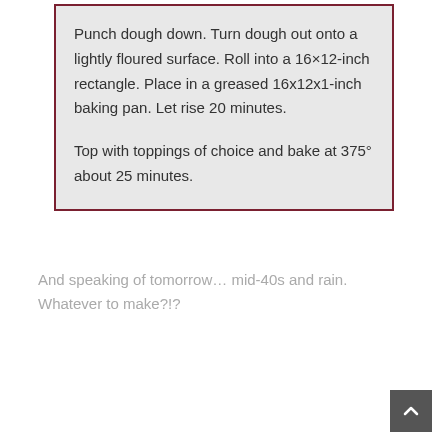Punch dough down. Turn dough out onto a lightly floured surface. Roll into a 16×12-inch rectangle. Place in a greased 16x12x1-inch baking pan.  Let rise 20 minutes.

Top with toppings of choice and bake at 375° about 25 minutes.
And speaking of tomorrow… mid-40s and rain. Whatever to make?!?